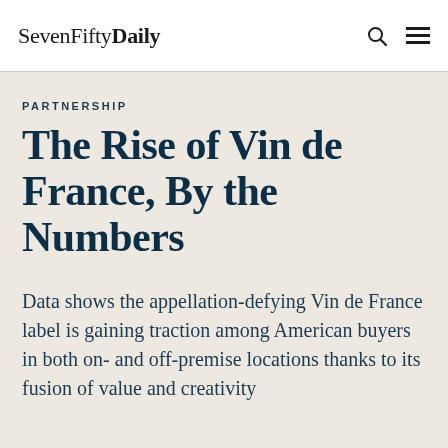SevenFifty Daily
PARTNERSHIP
The Rise of Vin de France, By the Numbers
Data shows the appellation-defying Vin de France label is gaining traction among American buyers in both on- and off-premise locations thanks to its fusion of value and creativity